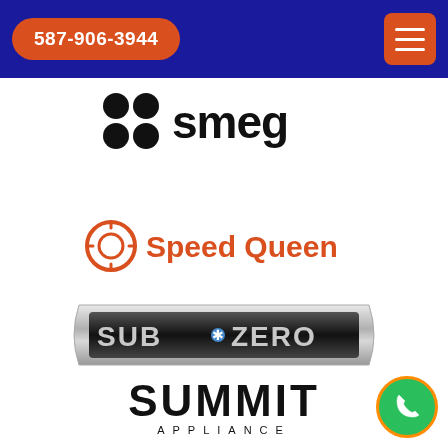587-906-3944
[Figure (logo): Smeg brand logo — black dots icon and 'smeg' wordmark in black]
[Figure (logo): Speed Queen brand logo — orange circular icon with face and orange bold text 'Speed Queen']
[Figure (logo): Sub-Zero brand logo — metallic silver banner with 'SUB*ZERO' text in silver/grey on dark background]
[Figure (logo): Summit Appliance brand logo — black bold text 'SUMMIT' with 'APPLIANCE' below in smaller caps]